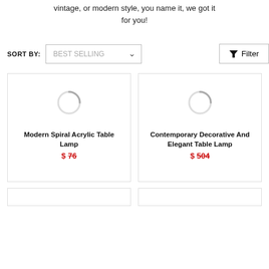vintage, or modern style, you name it, we got it for you!
SORT BY: BEST SELLING
Filter
[Figure (screenshot): Product card: Modern Spiral Acrylic Table Lamp loading spinner placeholder, price $76]
[Figure (screenshot): Product card: Contemporary Decorative And Elegant Table Lamp loading spinner placeholder, price $504]
[Figure (screenshot): Two more product card placeholders at bottom, partially visible]